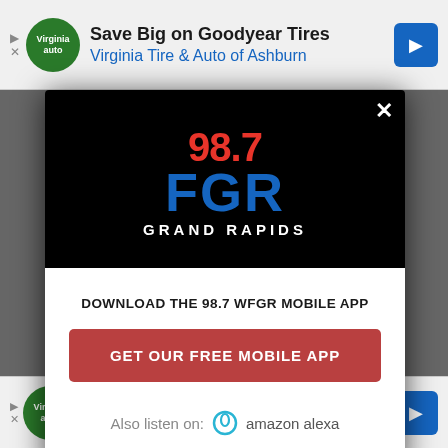[Figure (infographic): Top advertisement banner: Save Big on Goodyear Tires — Virginia Tire & Auto of Ashburn]
[Figure (logo): 98.7 FGR Grand Rapids radio station logo on black background inside modal dialog]
DOWNLOAD THE 98.7 WFGR MOBILE APP
GET OUR FREE MOBILE APP
Also listen on: amazon alexa
[Figure (infographic): Bottom advertisement banner: Save Up To $110 On New Tires — VirginiaTire & Auto of Ashburn Fa.]